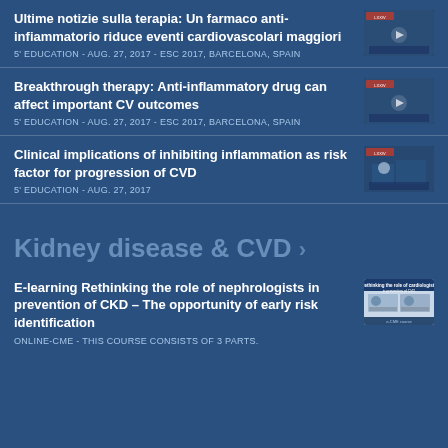Ultime notizie sulla terapia: Un farmaco anti-infiammatorio riduce eventi cardiovascolari maggiori
5' EDUCATION - AUG. 27, 2017 - ESC 2017, BARCELONA, SPAIN
Breakthrough therapy: Anti-inflammatory drug can affect important CV outcomes
5' EDUCATION - AUG. 27, 2017 - ESC 2017, BARCELONA, SPAIN
Clinical implications of inhibiting inflammation as risk factor for progression of CVD
5' EDUCATION - AUG. 27, 2017
Kidney disease & CVD >
E-learning Rethinking the role of nephrologists in prevention of CKD – The opportunity of early risk identification
ONLINE-CME - THIS COURSE CONSISTS OF 3 PARTS.